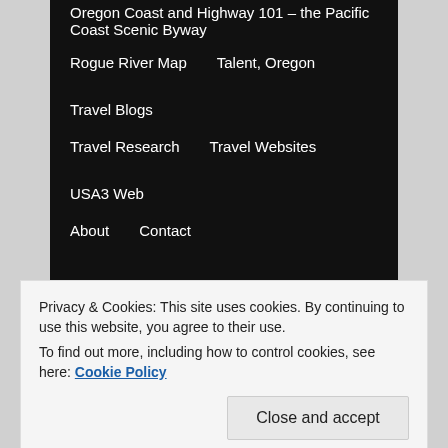Oregon Coast and Highway 101 – the Pacific Coast Scenic Byway
Rogue River Map
Talent, Oregon
Travel Blogs
Travel Research
Travel Websites
USA3 Web
About
Contact
← Previous   Next →
Stern on Climate
Privacy & Cookies: This site uses cookies. By continuing to use this website, you agree to their use.
To find out more, including how to control cookies, see here: Cookie Policy
Close and accept